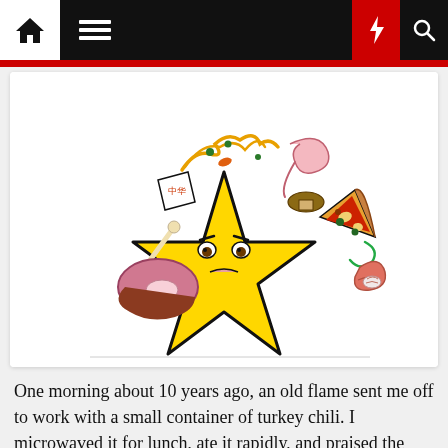Navigation bar with home, menu, dark mode, lightning, and search icons
[Figure (illustration): A cartoon yellow star character with a grumpy/worried face, surrounded by floating food items: a takeout box with noodles, a shrimp, a pizza slice, a turkey leg with meat, and a shellfish, all arranged in a circular pattern above the star.]
One morning about 10 years ago, an old flame sent me off to work with a small container of turkey chili. I microwaved it for lunch, ate it rapidly, and praised the chef in a glowing Facebook post.